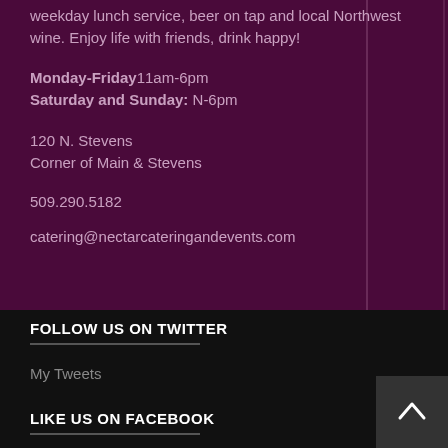weekday lunch service, beer on tap and local Northwest wine. Enjoy life with friends, drink happy!
Monday-Friday 11am-6pm
Saturday and Sunday: N-6pm
120 N. Stevens
Corner of Main & Stevens
509.290.5182
catering@nectarcateringandevents.com
FOLLOW US ON TWITTER
My Tweets
LIKE US ON FACEBOOK